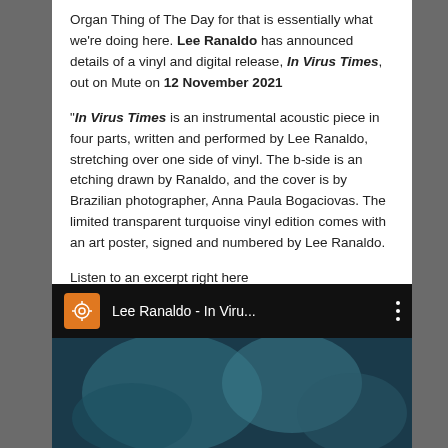Organ Thing of The Day for that is essentially what we're doing here. Lee Ranaldo has announced details of a vinyl and digital release, In Virus Times, out on Mute on 12 November 2021
"In Virus Times is an instrumental acoustic piece in four parts, written and performed by Lee Ranaldo, stretching over one side of vinyl. The b-side is an etching drawn by Ranaldo, and the cover is by Brazilian photographer, Anna Paula Bogaciovas. The limited transparent turquoise vinyl edition comes with an art poster, signed and numbered by Lee Ranaldo.
Listen to an excerpt right here
[Figure (screenshot): Music player bar showing 'Lee Ranaldo - In Viru...' with an orange icon and three-dot menu, above a dark teal/turquoise thumbnail image.]